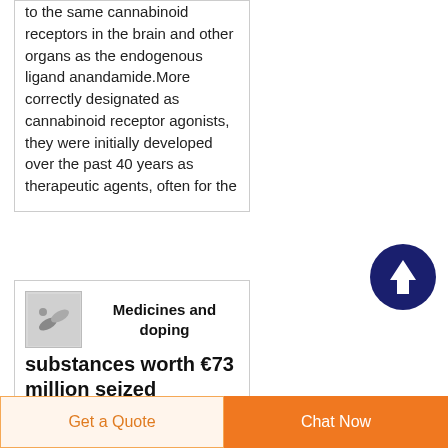to the same cannabinoid receptors in the brain and other organs as the endogenous ligand anandamide.More correctly designated as cannabinoid receptor agonists, they were initially developed over the past 40 years as therapeutic agents, often for the
[Figure (other): Scroll to top circular button with upward arrow, dark navy blue background]
[Figure (photo): Small thumbnail image of medicines/pills]
Medicines and doping substances worth €73 million seized
Europol coordinated
Get a Quote
Chat Now